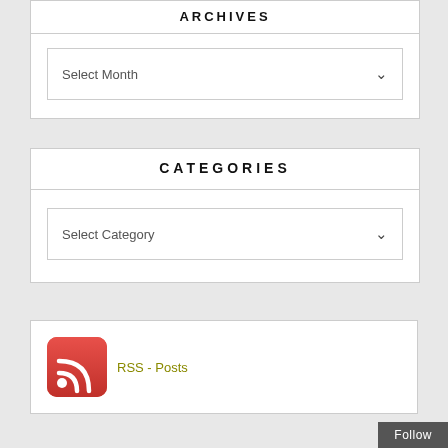ARCHIVES
Select Month
CATEGORIES
Select Category
[Figure (logo): RSS feed icon — red rounded square with white RSS signal arcs]
RSS - Posts
Follow